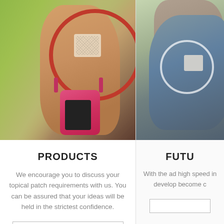[Figure (photo): Woman wearing a topical patch on her arm with a red circle highlighting the patch, and a phone holder strapped to her arm. Outdoor green background.]
[Figure (photo): Man wearing a topical patch on his arm with a white/light circle highlighting the patch. Outdoor background.]
PRODUCTS
We encourage you to discuss your topical patch requirements with us. You can be assured that your ideas will be held in the strictest confidence.
LEARN MORE
FUTU
With the ad high speed in develop become c